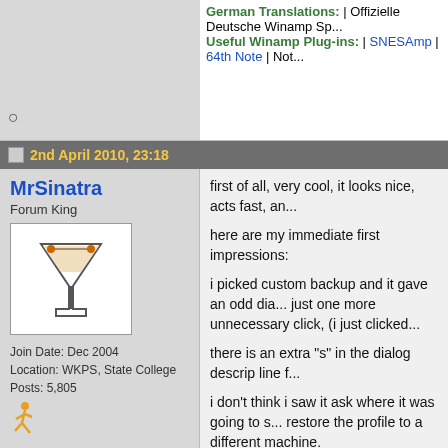German Translations: | Offizielle Deutsche Winamp Sp... Useful Winamp Plug-ins: | SNESAmp | 64th Note | Not...
2nd April 2010, 23:18
MrSinatra
Forum King
Join Date: Dec 2004
Location: WKPS, State College
Posts: 5,805
first of all, very cool, it looks nice, acts fast, an...

here are my immediate first impressions:

i picked custom backup and it gave an odd dia... just one more unnecessary click, (i just clicked...

there is an extra "s" in the dialog descrip line f...

i don't think i saw it ask where it was going to s... restore the profile to a different machine.

i don't see in my start menu (vista ult 32bit sp2... first btw, where i think it should be).

but it obviously covers a lot of bases and grou... continue! great work!
PENN STATE Radio or http://www.LION-Radio.org/
--
BUG #1 = Winamp skips short tracks
Wish #1 = Multiple Column Sorting
Wish #2 = Add TCMP/Compilation editing